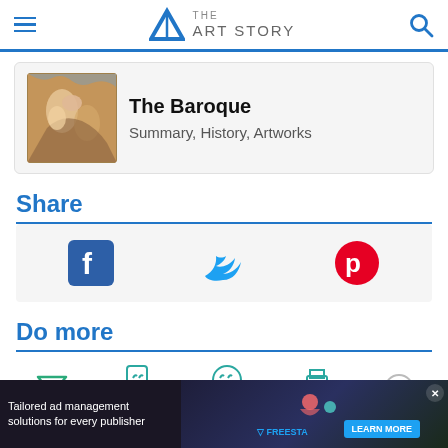THE ART STORY
[Figure (screenshot): The Baroque article card with painting thumbnail showing classical figures, title 'The Baroque' and subtitle 'Summary, History, Artworks']
The Baroque
Summary, History, Artworks
Share
[Figure (infographic): Social share buttons: Facebook (blue f icon), Twitter (blue bird icon), Pinterest (red P icon)]
Do more
[Figure (infographic): Do more action icons: filter funnel (green), Cite (teal pencil icon), Correct (teal quotation icon), Print (teal printer icon)]
[Figure (infographic): Advertisement banner: 'Tailored ad management solutions for every publisher' with FREESTA logo and LEARN MORE button, close X button]